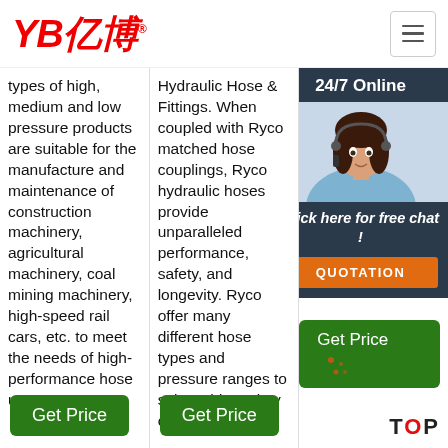[Figure (logo): YB亿博 company logo in red italic text with registered trademark symbol]
types of high, medium and low pressure products are suitable for the manufacture and maintenance of construction machinery, agricultural machinery, coal mining machinery, high-speed rail cars, etc. to meet the needs of high-performance hose users.
Hydraulic Hose & Fittings. When coupled with Ryco matched hose couplings, Ryco hydraulic hoses provide unparalleled performance, safety, and longevity. Ryco offer many different hose types and pressure ranges to suit a wide variety of applications.
hose EB72 dense type wrapping hydraulic hose. EB4 enhanced hydraulic hose. LBC allows (tan fabric rubber hose
[Figure (infographic): 24/7 Online chat popup with customer service representative photo, 'Click here for free chat!' text, and orange QUOTATION button]
Get Price
Get Price
Get Price
TOP